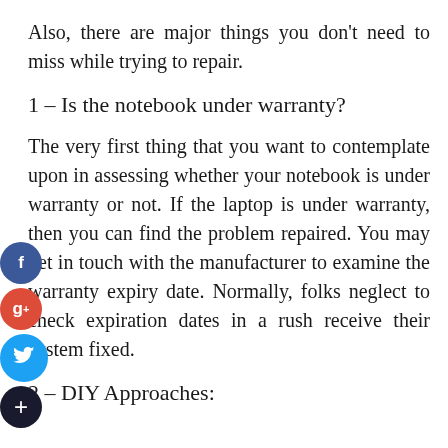Also, there are major things you don't need to miss while trying to repair.
1 – Is the notebook under warranty?
The very first thing that you want to contemplate upon in assessing whether your notebook is under warranty or not. If the laptop is under warranty, then you can find the problem repaired. You may get in touch with the manufacturer to examine the warranty expiry date. Normally, folks neglect to check expiration dates in a rush receive their system fixed.
2 – DIY Approaches: